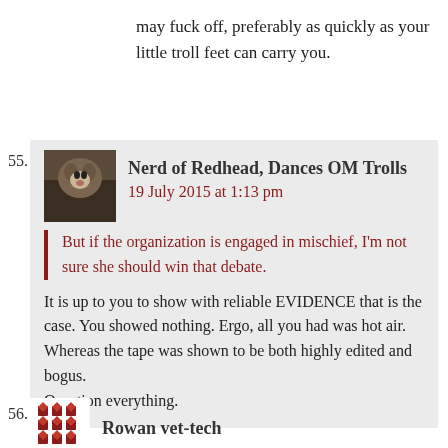may fuck off, preferably as quickly as your little troll feet can carry you.
55. Nerd of Redhead, Dances OM Trolls
19 July 2015 at 1:13 pm

But if the organization is engaged in mischief, I'm not sure she should win that debate.

It is up to you to show with reliable EVIDENCE that is the case. You showed nothing. Ergo, all you had was hot air. Whereas the tape was shown to be both highly edited and bogus.
Question everything.
56. Rowan vet-tech